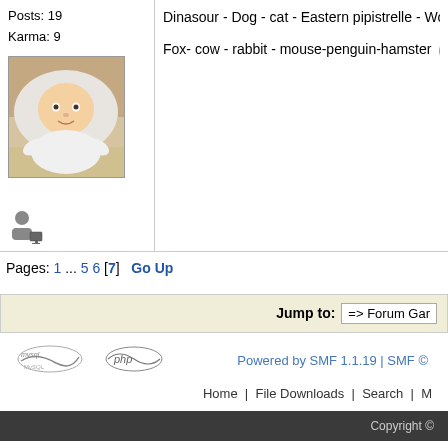Posts: 19
Karma: 9
Dinasour - Dog - cat - Eastern pipistrelle - Woo...
Fox- cow - rabbit - mouse-penguin-hamster 😬
[Figure (photo): Baby photo avatar - infant crawling under white cloth]
[Figure (illustration): User/member icon]
Pages: 1 ... 5 6 [7]  Go Up
Jump to: => Forum Gar...
Powered by SMF 1.1.19 | SMF ©
Home | File Downloads | Search | M...
Copyright ©